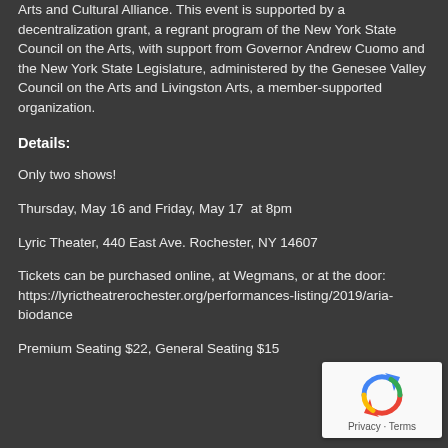Arts and Cultural Alliance. This event is supported by a decentralization grant, a regrant program of the New York State Council on the Arts, with support from Governor Andrew Cuomo and the New York State Legislature, administered by the Genesee Valley Council on the Arts and Livingston Arts, a member-supported organization.
Details:
Only two shows!
Thursday, May 16 and Friday, May 17  at 8pm
Lyric Theater, 440 East Ave. Rochester, NY 14607
Tickets can be purchased online, at Wegmans, or at the door: https://lyrictheatrerochester.org/performances-listing/2019/aria-biodance
Premium Seating $22, General Seating $15
[Figure (other): reCAPTCHA widget showing recycling arrows logo with 'Privacy - Terms' text below]